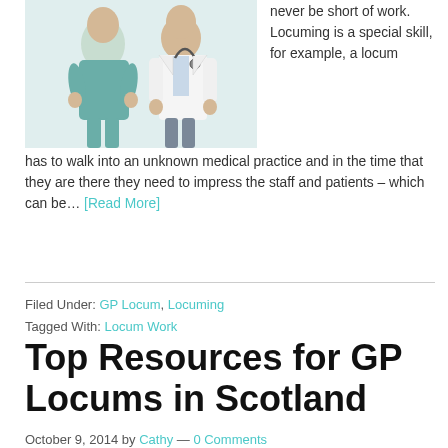[Figure (photo): Two medical professionals: a female nurse in teal scrubs and a male doctor in white coat with stethoscope, standing back to back.]
never be short of work. Locuming is a special skill, for example, a locum has to walk into an unknown medical practice and in the time that they are there they need to impress the staff and patients – which can be… [Read More]
Filed Under: GP Locum, Locuming
Tagged With: Locum Work
Top Resources for GP Locums in Scotland
October 9, 2014 by Cathy — 0 Comments